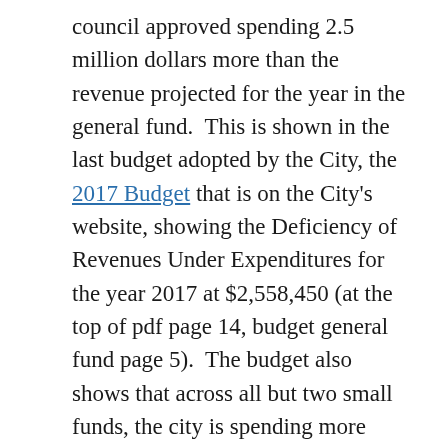council approved spending 2.5 million dollars more than the revenue projected for the year in the general fund.  This is shown in the last budget adopted by the City, the 2017 Budget that is on the City's website, showing the Deficiency of Revenues Under Expenditures for the year 2017 at $2,558,450 (at the top of pdf page 14, budget general fund page 5).  The budget also shows that across all but two small funds, the city is spending more than it has.  In the proposed 2018 budget, the deficiency is distributed across more than one fund and partially into 2018, leaving a 1.15 million dollar deficiency in the general fund. The deficiency is largely due to over-budgeting for streets, which the City Administrator says is